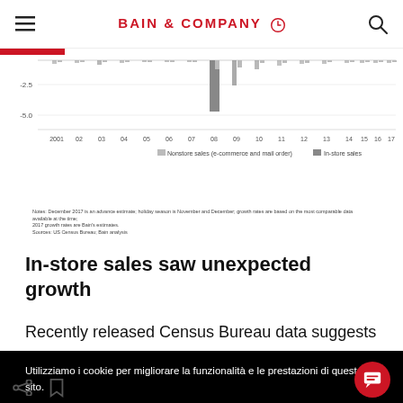BAIN & COMPANY
[Figure (continuous-plot): Bar chart showing nonstore sales (e-commerce and mail order) and in-store sales growth rates from 2001 to 2017. The chart is partially cropped at the top. Y-axis labels visible: -2.5, -5.0. X-axis labels: 2001, 02, 03, 04, 05, 06, 07, 08, 09, 10, 11, 12, 13, 14, 15, 16, 17. A prominent gray bar is visible at 08. Legend: Nonstore sales (e-commerce and mail order) in light gray, In-store sales in dark gray.]
Notes: December 2017 is an advance estimate; holiday season is November and December; growth rates are based on the most comparable data available at the time; 2017 growth rates are Bain's estimates.
Sources: US Census Bureau; Bain analysis
In-store sales saw unexpected growth
Recently released Census Bureau data suggests
Utilizziamo i cookie per migliorare la funzionalità e le prestazioni di questo sito.